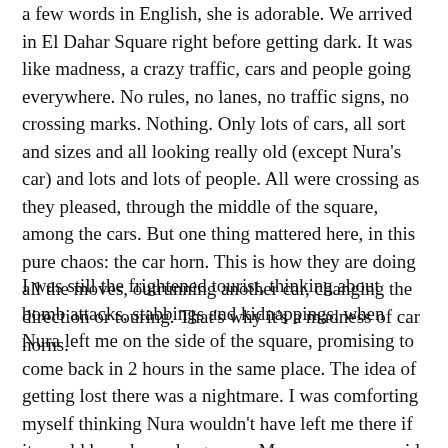a few words in English, she is adorable. We arrived in El Dahar Square right before getting dark. It was like madness, a crazy traffic, cars and people going everywhere. No rules, no lanes, no traffic signs, no crossing marks. Nothing. Only lots of cars, all sort and sizes and all looking really old (except Nura's car) and lots and lots of people. All were crossing as they pleased, through the middle of the square, among the cars. But one thing mattered here, in this pure chaos: the car horn. This is how they are doing all the moves, outrunning another car, changing the direction or touring. That's why it's a madness of car horns.
I was still the frightened tourist, thinking about bomb attacks, stabbings and kidnappings, when Nura left me on the side of the square, promising to come back in 2 hours in the same place. The idea of getting lost there was a nightmare. I was comforting myself thinking Nura wouldn't have left me there if it would have been dangerous. Many crazy paranoid thoughts were messing with my head...